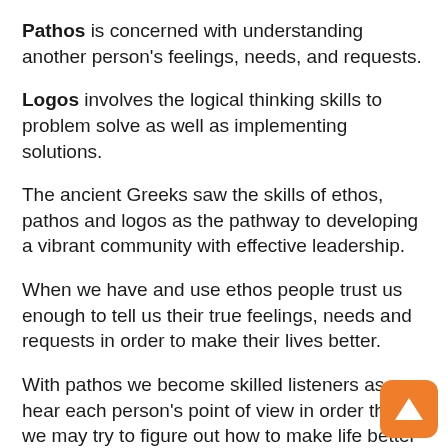Pathos is concerned with understanding another person's feelings, needs, and requests.
Logos involves the logical thinking skills to problem solve as well as implementing solutions.
The ancient Greeks saw the skills of ethos, pathos and logos as the pathway to developing a vibrant community with effective leadership.
When we have and use ethos people trust us enough to tell us their true feelings, needs and requests in order to make their lives better.
With pathos we become skilled listeners as we hear each person's point of view in order that we may try to figure out how to make life better for